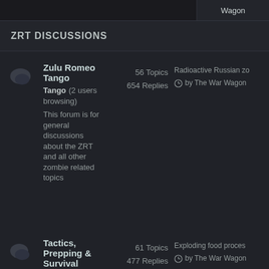Wagon
ZRT DISCUSSIONS
Zulu Romeo Tango (2 users browsing) This forum is for general discussions about the ZRT and all other zombie related topics | 56 Topics 654 Replies | Radioactive Russian zo by The War Wagon
Tactics, Prepping & Survival Forum for Discussions about Tactics, Prepping and Survival Techniques | 61 Topics 477 Replies | Exploding food proces by The War Wagon